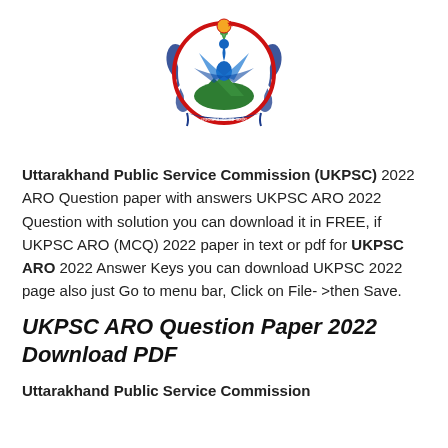[Figure (logo): Uttarakhand Public Service Commission official emblem/logo with red circle, peacock, mountains, and decorative blue scroll elements]
Uttarakhand Public Service Commission (UKPSC) 2022 ARO Question paper with answers UKPSC ARO 2022 Question with solution you can download it in FREE, if UKPSC ARO (MCQ) 2022 paper in text or pdf for UKPSC ARO 2022 Answer Keys you can download UKPSC 2022 page also just Go to menu bar, Click on File->then Save.
UKPSC ARO Question Paper 2022 Download PDF
Uttarakhand Public Service Commission